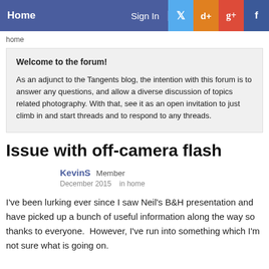Home | Sign In
home
Welcome to the forum!

As an adjunct to the Tangents blog, the intention with this forum is to answer any questions, and allow a diverse discussion of topics related photography. With that, see it as an open invitation to just climb in and start threads and to respond to any threads.
Issue with off-camera flash
KevinS Member
December 2015   in home
I've been lurking ever since I saw Neil's B&H presentation and have picked up a bunch of useful information along the way so thanks to everyone.  However, I've run into something which I'm not sure what is going on.